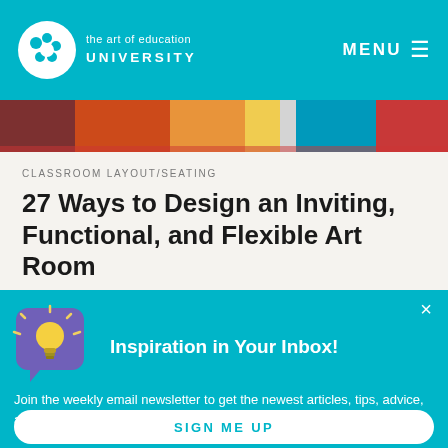the art of education UNIVERSITY   MENU
[Figure (photo): Colorful horizontal image strip showing art room photos in red, orange, yellow, and blue tones]
CLASSROOM LAYOUT/SEATING
27 Ways to Design an Inviting, Functional, and Flexible Art Room
Article
Inspiration in Your Inbox!
[Figure (illustration): Purple speech bubble icon with a glowing yellow lightbulb inside]
Join the weekly email newsletter to get the newest articles, tips, advice, and resources for art educators!
SIGN ME UP